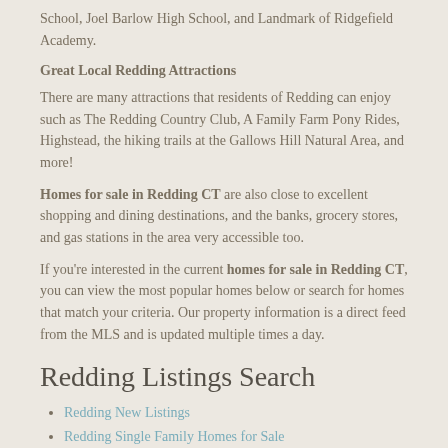School, Joel Barlow High School, and Landmark of Ridgefield Academy.
Great Local Redding Attractions
There are many attractions that residents of Redding can enjoy such as The Redding Country Club, A Family Farm Pony Rides, Highstead, the hiking trails at the Gallows Hill Natural Area, and more!
Homes for sale in Redding CT are also close to excellent shopping and dining destinations, and the banks, grocery stores, and gas stations in the area very accessible too.
If you're interested in the current homes for sale in Redding CT, you can view the most popular homes below or search for homes that match your criteria. Our property information is a direct feed from the MLS and is updated multiple times a day.
Redding Listings Search
Redding New Listings
Redding Single Family Homes for Sale